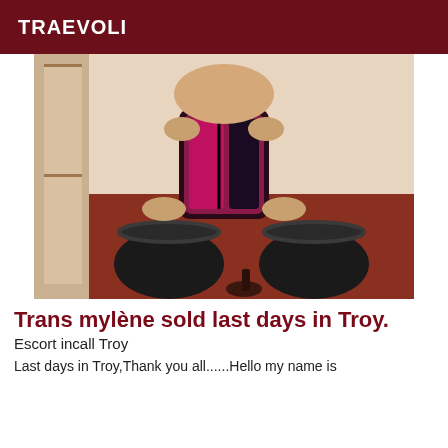TRAEVOLI
[Figure (photo): A person kneeling on a red carpet floor wearing a black and pink/red corset and black stockings with lace trim, posed in an interior room setting.]
Trans mylène sold last days in Troy.
Escort incall Troy
Last days in Troy,Thank you all......Hello my name is